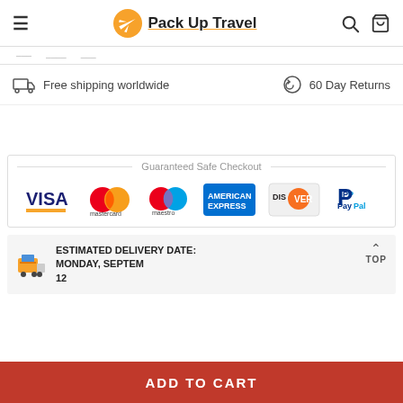Pack Up Travel — navigation header with hamburger, search, and cart icons
Free shipping worldwide   60 Day Returns
[Figure (infographic): Guaranteed Safe Checkout section with payment logos: VISA, Mastercard, Maestro, American Express, Discover, PayPal]
ESTIMATED DELIVERY DATE: MONDAY, SEPTEMBER 12
ADD TO CART